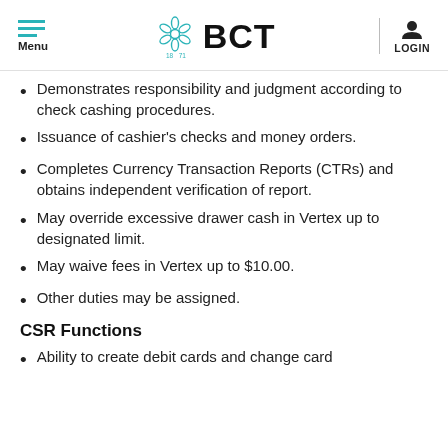Menu | BCT 1871 | LOGIN
Demonstrates responsibility and judgment according to check cashing procedures.
Issuance of cashier's checks and money orders.
Completes Currency Transaction Reports (CTRs) and obtains independent verification of report.
May override excessive drawer cash in Vertex up to designated limit.
May waive fees in Vertex up to $10.00.
Other duties may be assigned.
CSR Functions
Ability to create debit cards and change card